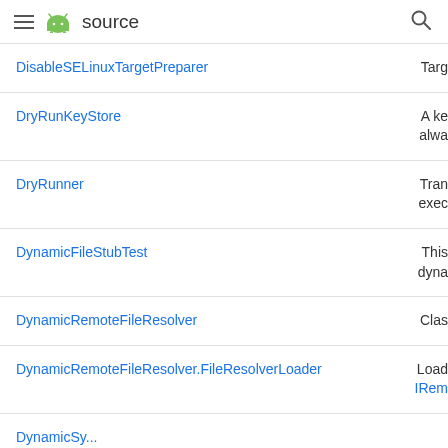≡ android source 🔍
| Class | Description |
| --- | --- |
| DisableSELinuxTargetPreparer | Targ |
| DryRunKeyStore | A ke
alwa |
| DryRunner | Tran
exec |
| DynamicFileStubTest | This
dyna |
| DynamicRemoteFileResolver | Clas |
| DynamicRemoteFileResolver.FileResolverLoader | Load
IRem |
| DynamicSy... | ... |